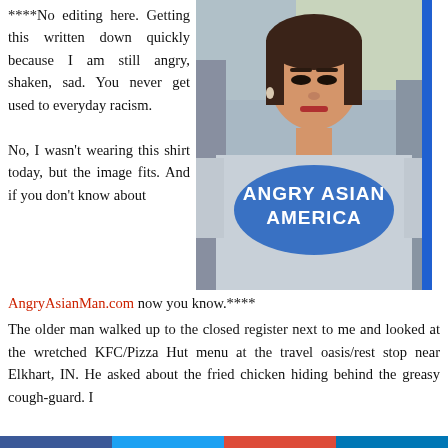****No editing here. Getting this written down quickly because I am still angry, shaken, sad. You never get used to everyday racism.

No, I wasn't wearing this shirt today, but the image fits. And if you don't know about
[Figure (photo): Woman sitting in a car, wearing a light blue t-shirt with 'ANGRY ASIAN AMERICA' text in blue. A blue vertical bar appears on the right edge of the photo.]
AngryAsianMan.com now you know.****
The older man walked up to the closed register next to me and looked at the wretched KFC/Pizza Hut menu at the travel oasis/rest stop near Elkhart, IN. He asked about the fried chicken hiding behind the greasy cough-guard. I